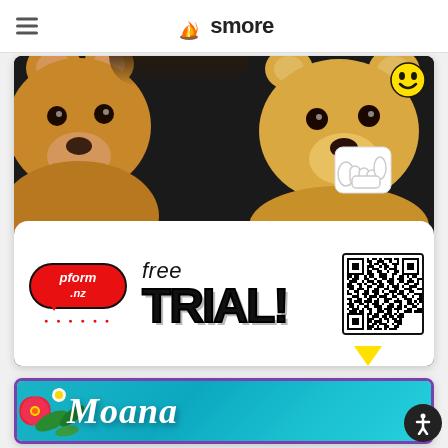smore
[Figure (photo): Promotional banner for pform.nz showing teddy bears on black background with 'free TRIAL!' text and QR code on white panel at bottom. Red speech bubble with pform.nz logo, smiley face sticker and hang-loose hand sticker.]
[Figure (photo): Moana themed banner with teal/turquoise water background, pink hibiscus flowers on left, and 'Moana' in white cursive script. Purple border.]